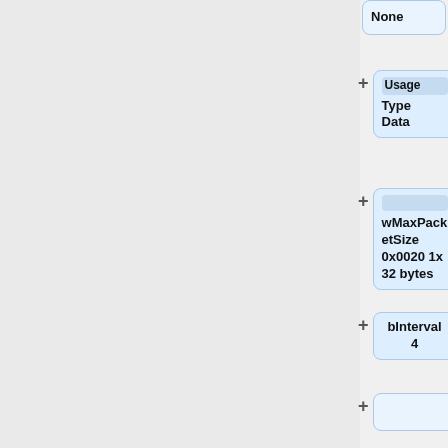[Figure (other): USB device tree node showing 'None']
[Figure (other): USB device tree node showing 'Usage Type Data']
[Figure (other): USB device tree node showing 'wMaxPacketSize 0x0020 1x 32 bytes']
[Figure (other): USB device tree node showing 'bInterval 4']
[Figure (other): USB device tree node (empty, collapsed)]
[Figure (other): USB device tree node showing 'Bus 003 Device 024: ID 1292:3006 Innomedia']
[Figure (other): USB device tree node showing 'Device Descriptor:']
[Figure (other): USB device tree node showing 'bLength']